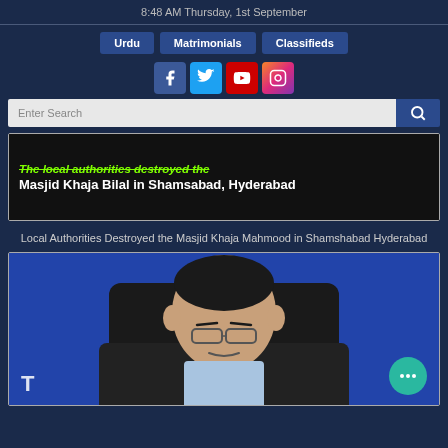8:48 AM Thursday, 1st September
Urdu | Matrimonials | Classifieds
[Figure (screenshot): Social media icons: Facebook, Twitter, YouTube, Instagram]
[Figure (screenshot): Search bar with input field and search button]
[Figure (photo): News banner image with text: The local authorities destroyed the Masjid Khaja Bilal in Shamsabad, Hyderabad]
Local Authorities Destroyed the Masjid Khaja Mahmood in Shamshabad Hyderabad
[Figure (photo): Photograph of a man with glasses seated in a chair, blue background]